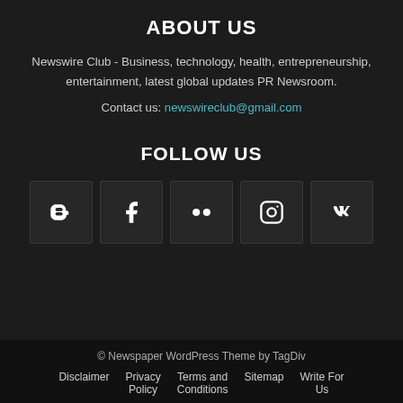ABOUT US
Newswire Club - Business, technology, health, entrepreneurship, entertainment, latest global updates PR Newsroom.
Contact us: newswireclub@gmail.com
FOLLOW US
[Figure (infographic): Row of 5 social media icon buttons: Blogger, Facebook, Flickr, Instagram, VKontakte]
© Newspaper WordPress Theme by TagDiv
Disclaimer  Privacy Policy  Terms and Conditions  Sitemap  Write For Us